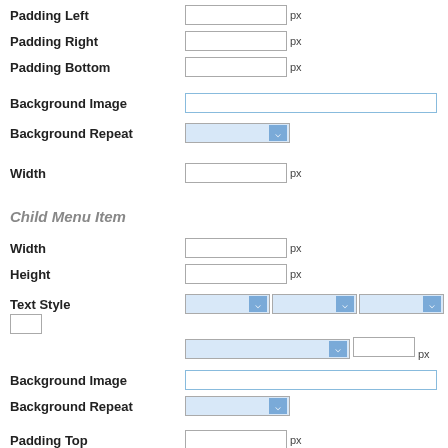Padding Left
Padding Right
Padding Bottom
Background Image
Background Repeat
Width
Child Menu Item
Width
Height
Text Style
Background Image
Background Repeat
Padding Top
Padding Left